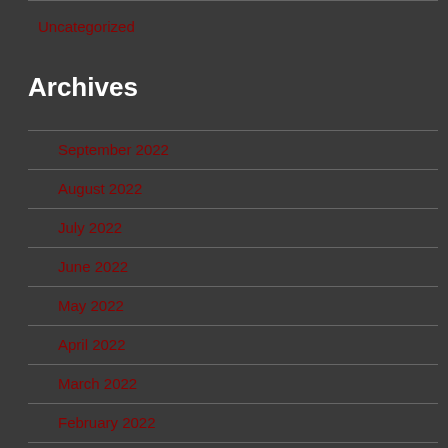Uncategorized
Archives
September 2022
August 2022
July 2022
June 2022
May 2022
April 2022
March 2022
February 2022
January 2022
December 2021